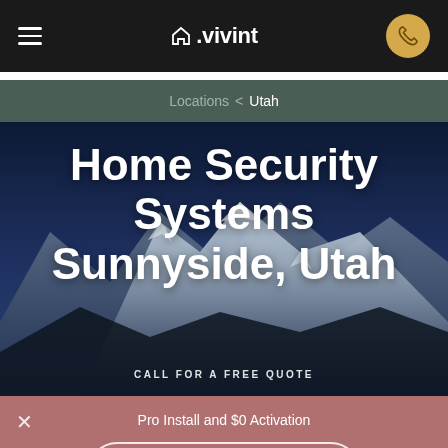Vivint navigation bar
Locations < Utah
Home Security Systems Sunnyside, Utah
CALL FOR A FREE QUOTE
Pro Install and $0 Activation
801.770.4468